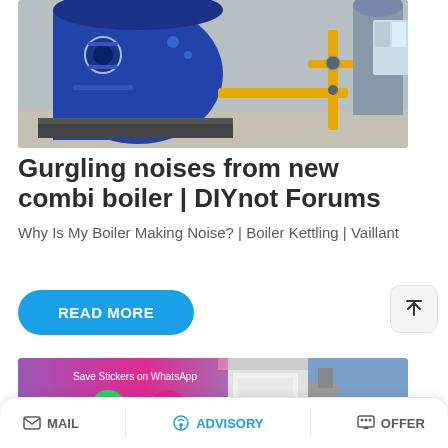[Figure (photo): Industrial boiler room with large blue cylindrical boiler and yellow gas pipes]
Gurgling noises from new combi boiler | DIYnot Forums
Why Is My Boiler Making Noise? | Boiler Kettling | Vaillant
READ MORE
[Figure (photo): Second boiler image partially visible with WhatsApp Save Stickers overlay showing phone and emoji icons]
MAIL   ADVISORY   OFFER